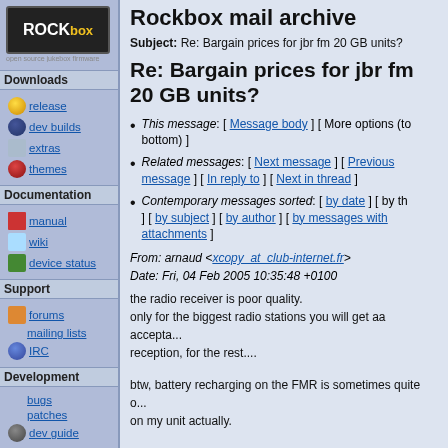[Figure (logo): Rockbox logo — black background with ROCK in white bold and box in stylized text]
Downloads
release
dev builds
extras
themes
Documentation
manual
wiki
device status
Support
forums
mailing lists
IRC
Development
bugs
patches
dev guide
Search
Rockbox mail archive
Subject: Re: Bargain prices for jbr fm 20 GB units?
Re: Bargain prices for jbr fm 20 GB units?
This message: [ Message body ] [ More options (top, bottom) ]
Related messages: [ Next message ] [ Previous message ] [ In reply to ] [ Next in thread ]
Contemporary messages sorted: [ by date ] [ by th... ] [ by subject ] [ by author ] [ by messages with attachments ]
From: arnaud <xcopy_at_club-internet.fr>
Date: Fri, 04 Feb 2005 10:35:48 +0100
the radio receiver is poor quality.
only for the biggest radio stations you will get aa accepta... reception, for the rest....
btw, battery recharging on the FMR is sometimes quite o... on my unit actually.
sometimes it charges very well, sometimes Rockbox indi... ~ 80%